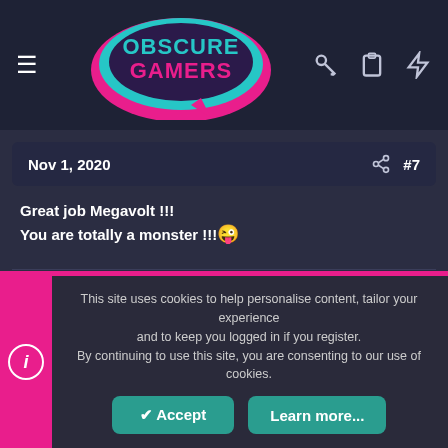[Figure (logo): Obscure Gamers logo with teal and pink speech bubble design on dark navy header]
Nov 1, 2020   #7
Great job Megavolt !!!
You are totally a monster !!!😜
Arcadia
Donator  Donator  Community Contributor
This site uses cookies to help personalise content, tailor your experience and to keep you logged in if you register.
By continuing to use this site, you are consenting to our use of cookies.